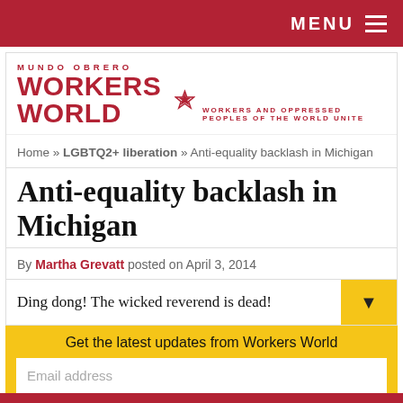MENU
[Figure (logo): Workers World / Mundo Obrero logo with red star and tagline: WORKERS AND OPPRESSED PEOPLES OF THE WORLD UNITE]
Home » LGBTQ2+ liberation » Anti-equality backlash in Michigan
Anti-equality backlash in Michigan
By Martha Grevatt posted on April 3, 2014
Ding dong! The wicked reverend is dead!
Get the latest updates from Workers World
Email address
Subscribe